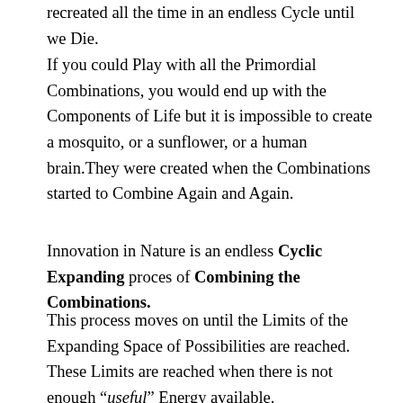recreated all the time in an endless Cycle until we Die.
If you could Play with all the Primordial Combinations, you would end up with the Components of Life but it is impossible to create a mosquito, or a sunflower, or a human brain.They were created when the Combinations started to Combine Again and Again.
Innovation in Nature is an endless Cyclic Expanding proces of Combining the Combinations.
This process moves on until the Limits of the Expanding Space of Possibilities are reached. These Limits are reached when there is not enough “useful” Energy available.